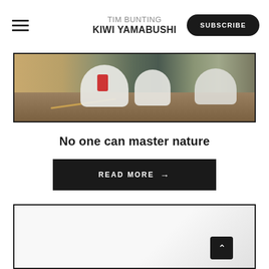TIM BUNTING
KIWI YAMABUSHI
[Figure (photo): Outdoor scene showing people in white robes bowing or working near a dirt hillside, viewed from behind. Lush greenery visible at the edges. Brown/tan landscape colors.]
No one can master nature
READ MORE →
[Figure (photo): Partially visible second article card with white/light grey background, bordered by a dark frame. A dark back-to-top arrow button visible at bottom right.]